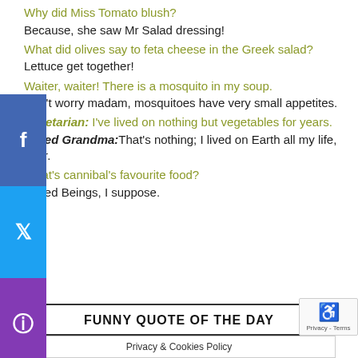Why did Miss Tomato blush?
Because, she saw Mr Salad dressing!
What did olives say to feta cheese in the Greek salad?
Lettuce get together!
Waiter, waiter! There is a mosquito in my soup.
Don't worry madam, mosquitoes have very small appetites.
Vegetarian: I've lived on nothing but vegetables for years.
Bored Grandma: That's nothing; I lived on Earth all my life, dear.
What's cannibal's favourite food?
Baked Beings, I suppose.
FUNNY QUOTE OF THE DAY
Privacy & Cookies Policy